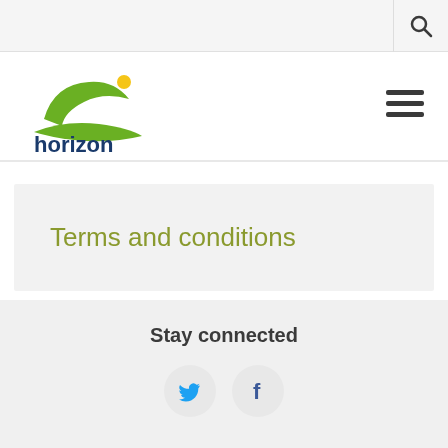[Figure (logo): Horizon Housing logo with green stylized bird/house shape and text 'horizon housing' in dark blue]
Terms and conditions
Stay connected
[Figure (illustration): Twitter bird icon in blue inside a light grey circle]
[Figure (illustration): Facebook 'f' icon in blue inside a light grey circle]